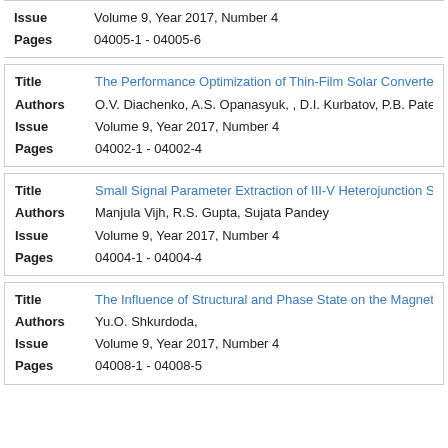| Field | Value |
| --- | --- |
| Issue | Volume 9, Year 2017, Number 4 |
| Pages | 04005-1 - 04005-6 |
| Field | Value |
| --- | --- |
| Title | The Performance Optimization of Thin-Film Solar Converters |
| Authors | O.V. Diachenko, A.S. Opanasyuk, , D.I. Kurbatov, P.B. Patel, C |
| Issue | Volume 9, Year 2017, Number 4 |
| Pages | 04002-1 - 04002-4 |
| Field | Value |
| --- | --- |
| Title | Small Signal Parameter Extraction of III-V Heterojunction Sur |
| Authors | Manjula Vijh, R.S. Gupta, Sujata Pandey |
| Issue | Volume 9, Year 2017, Number 4 |
| Pages | 04004-1 - 04004-4 |
| Field | Value |
| --- | --- |
| Title | The Influence of Structural and Phase State on the Magnetore |
| Authors | Yu.O. Shkurdoda, |
| Issue | Volume 9, Year 2017, Number 4 |
| Pages | 04008-1 - 04008-5 |